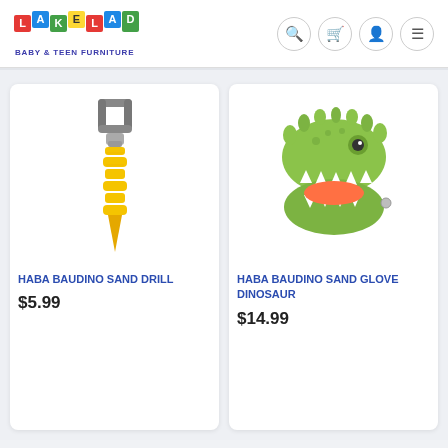LAKELAND BABY & TEEN FURNITURE
[Figure (illustration): HABA Baudino Sand Drill toy - gray handle on top, yellow spiral drill bit below]
HABA BAUDINO SAND DRILL
$5.99
[Figure (illustration): HABA Baudino Sand Glove Dinosaur toy - green dinosaur head/jaw shaped glove]
HABA BAUDINO SAND GLOVE DINOSAUR
$14.99